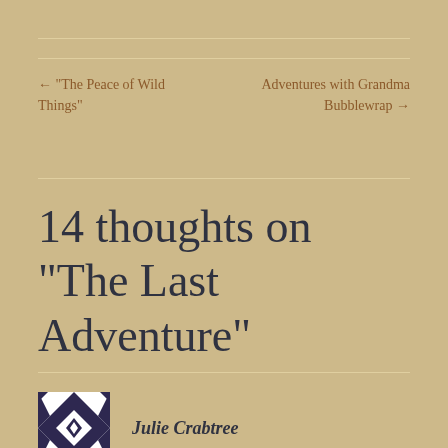← “The Peace of Wild Things”
Adventures with Grandma Bubblewrap →
14 thoughts on “The Last Adventure”
Julie Crabtree